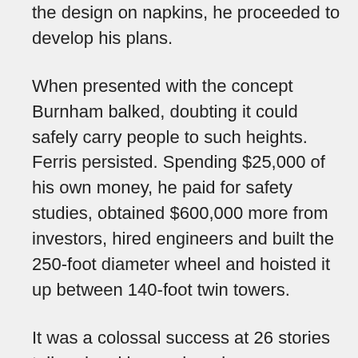the design on napkins, he proceeded to develop his plans.

When presented with the concept Burnham balked, doubting it could safely carry people to such heights. Ferris persisted. Spending $25,000 of his own money, he paid for safety studies, obtained $600,000 more from investors, hired engineers and built the 250-foot diameter wheel and hoisted it up between 140-foot twin towers.

It was a colossal success at 26 stories tall and making a whopping $726,805.50. In 1893, that was a hefty profit for the fair.

Despite the wheel's success, Ferris struggled after the fair. Lawsuits over who